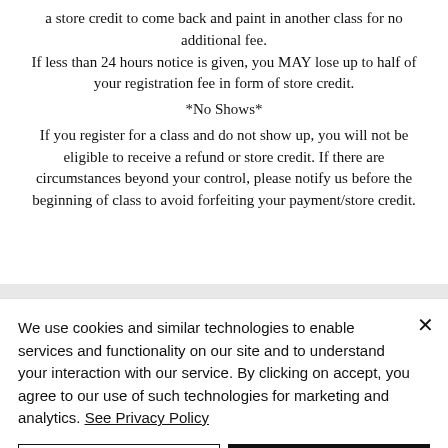a store credit to come back and paint in another class for no additional fee. If less than 24 hours notice is given, you MAY lose up to half of your registration fee in form of store credit.
*No Shows*
If you register for a class and do not show up, you will not be eligible to receive a refund or store credit. If there are circumstances beyond your control, please notify us before the beginning of class to avoid forfeiting your payment/store credit.
We use cookies and similar technologies to enable services and functionality on our site and to understand your interaction with our service. By clicking on accept, you agree to our use of such technologies for marketing and analytics. See Privacy Policy